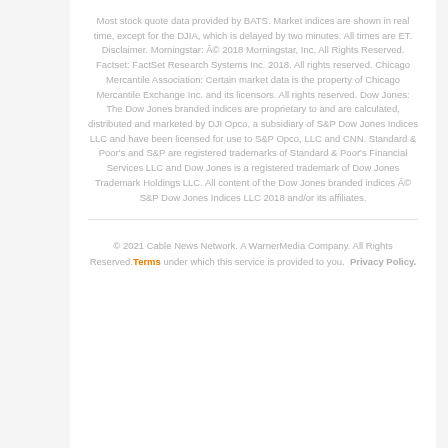Most stock quote data provided by BATS. Market indices are shown in real time, except for the DJIA, which is delayed by two minutes. All times are ET. Disclaimer. Morningstar: Â© 2018 Morningstar, Inc. All Rights Reserved. Factset: FactSet Research Systems Inc. 2018. All rights reserved. Chicago Mercantile Association: Certain market data is the property of Chicago Mercantile Exchange Inc. and its licensors. All rights reserved. Dow Jones: The Dow Jones branded indices are proprietary to and are calculated, distributed and marketed by DJI Opco, a subsidiary of S&P Dow Jones Indices LLC and have been licensed for use to S&P Opco, LLC and CNN. Standard & Poor's and S&P are registered trademarks of Standard & Poor's Financial Services LLC and Dow Jones is a registered trademark of Dow Jones Trademark Holdings LLC. All content of the Dow Jones branded indices Â© S&P Dow Jones Indices LLC 2018 and/or its affiliates.
© 2021 Cable News Network. A WarnerMedia Company. All Rights Reserved. Terms under which this service is provided to you. Privacy Policy.